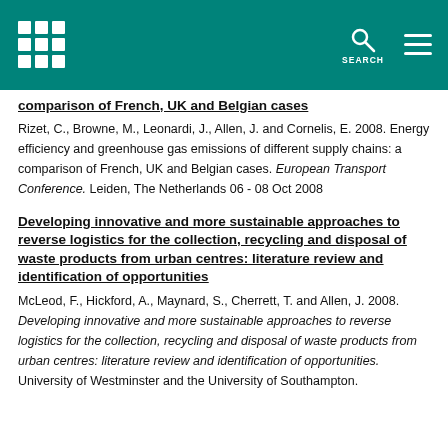comparison of French, UK and Belgian cases
Rizet, C., Browne, M., Leonardi, J., Allen, J. and Cornelis, E. 2008. Energy efficiency and greenhouse gas emissions of different supply chains: a comparison of French, UK and Belgian cases. European Transport Conference. Leiden, The Netherlands 06 - 08 Oct 2008
Developing innovative and more sustainable approaches to reverse logistics for the collection, recycling and disposal of waste products from urban centres: literature review and identification of opportunities
McLeod, F., Hickford, A., Maynard, S., Cherrett, T. and Allen, J. 2008. Developing innovative and more sustainable approaches to reverse logistics for the collection, recycling and disposal of waste products from urban centres: literature review and identification of opportunities. University of Westminster and the University of Southampton.